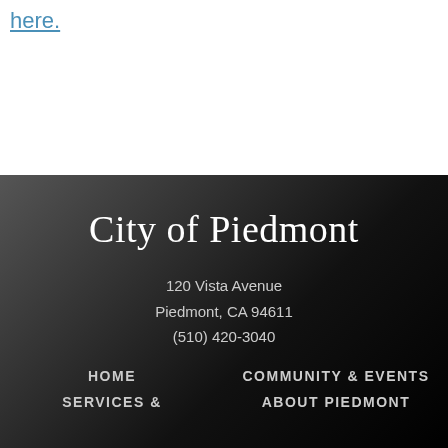here.
City of Piedmont
120 Vista Avenue
Piedmont, CA 94611
(510) 420-3040
HOME
COMMUNITY & EVENTS
SERVICES &
ABOUT PIEDMONT